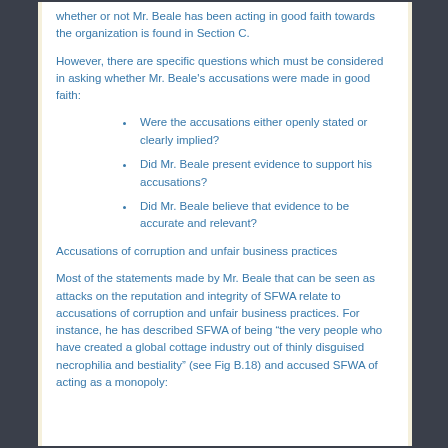whether or not Mr. Beale has been acting in good faith towards the organization is found in Section C.
However, there are specific questions which must be considered in asking whether Mr. Beale's accusations were made in good faith:
Were the accusations either openly stated or clearly implied?
Did Mr. Beale present evidence to support his accusations?
Did Mr. Beale believe that evidence to be accurate and relevant?
Accusations of corruption and unfair business practices
Most of the statements made by Mr. Beale that can be seen as attacks on the reputation and integrity of SFWA relate to accusations of corruption and unfair business practices. For instance, he has described SFWA of being “the very people who have created a global cottage industry out of thinly disguised necrophilia and bestiality” (see Fig B.18) and accused SFWA of acting as a monopoly: